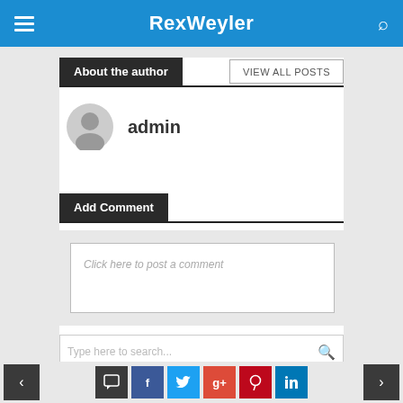RexWeyler
About the author
VIEW ALL POSTS
admin
Add Comment
Click here to post a comment
Type here to search...
< comment f t g+ p in >